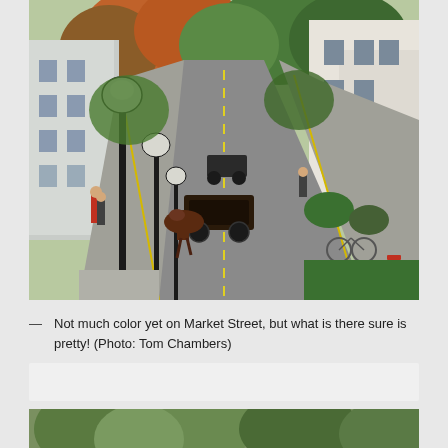[Figure (photo): Street scene on Market Street showing horse-drawn carriages on a tree-lined road with Victorian-style houses and lamp posts. Fall foliage visible with green and orange/red leaves. People walking on sidewalks. Photo taken from an elevated vantage point looking down the street.]
— Not much color yet on Market Street, but what is there sure is pretty! (Photo: Tom Chambers)
[Figure (photo): Partial bottom photo showing green trees and park-like setting, partially cut off at bottom of page.]